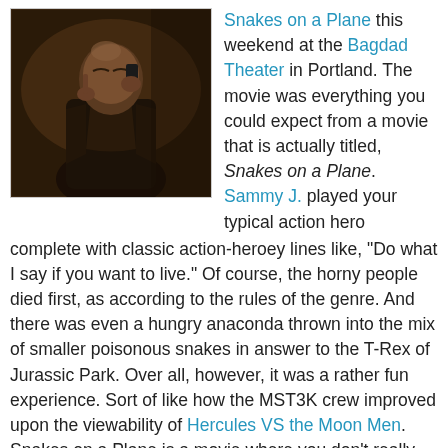[Figure (photo): A man in a dark jacket holding a phone to his ear in a dimly lit setting, appearing to be a still from the movie Snakes on a Plane]
Snakes on a Plane this weekend at the Bagdad Theater in Portland. The movie was everything you could expect from a movie that is actually titled, Snakes on a Plane. Sammy J. played your typical action hero complete with classic action-heroey lines like, "Do what I say if you want to live." Of course, the horny people died first, as according to the rules of the genre. And there was even a hungry anaconda thrown into the mix of smaller poisonous snakes in answer to the T-Rex of Jurassic Park. Over all, however, it was a rather fun experience. Sort of like how the MST3K crew improved upon the viewability of Hercules VS the Moon Men. Snakes on a Plane is a movie where you don't really mind if people talk or yell through it, and there was plenty of that. It was almost like viewing the movie with Mike, Crow, and Tom Servo themselves. Well, the comments weren't that genius, but it was still fun. I even attempted to initiate a slow clap after a rousing speech by Sammy J. It caught on with a few other people, but died out as it turned